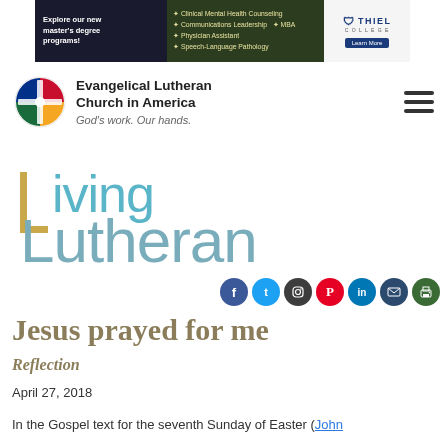[Figure (screenshot): Advertisement banner for Thiel College master's degree programs including Clinical Mental Health Counseling, Communications Leadership, MBA, Physician Assistant, and Speech-Language Pathology]
[Figure (logo): Evangelical Lutheran Church in America logo with colorful cross emblem and text 'God's work. Our hands.']
[Figure (logo): Living Lutheran logo in large stylized text with teal and gold colors]
[Figure (infographic): Row of social media icons: Facebook (blue), Twitter (light blue), Instagram (dark gray), Pinterest (red), LinkedIn (blue), Email (dark blue), Print (dark green)]
Jesus prayed for me
Reflection
April 27, 2018
In the Gospel text for the seventh Sunday of Easter (John 17:1-11),